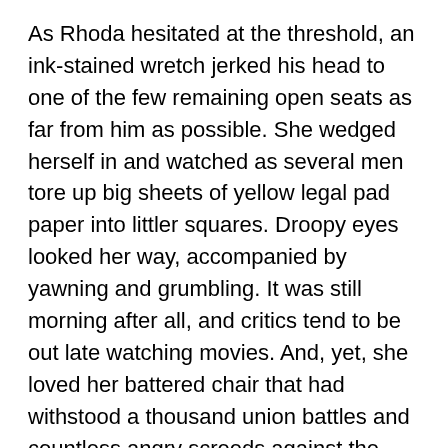As Rhoda hesitated at the threshold, an ink-stained wretch jerked his head to one of the few remaining open seats as far from him as possible. She wedged herself in and watched as several men tore up big sheets of yellow legal pad paper into littler squares. Droopy eyes looked her way, accompanied by yawning and grumbling. It was still morning after all, and critics tend to be out late watching movies. And, yet, she loved her battered chair that had withstood a thousand union battles and countless angry screeds against the bosses. It was proof Rhoda had made it into the room and had conquered her profession so that, indeed, she could have this child and get on with the process of film reviewing.
Rhoda's Brooklyn-born father and movie-loving